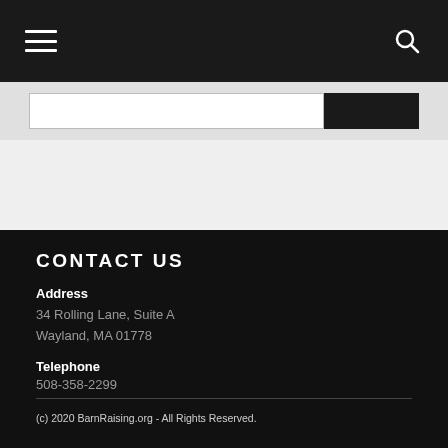Navigation bar with hamburger menu and search icon
CONTACT US
Address
34 Rolling Lane, Suite A
Wayland, MA 01778
Telephone
508-358-2299
(c) 2020 BarnRaising.org - All Rights Reserved.